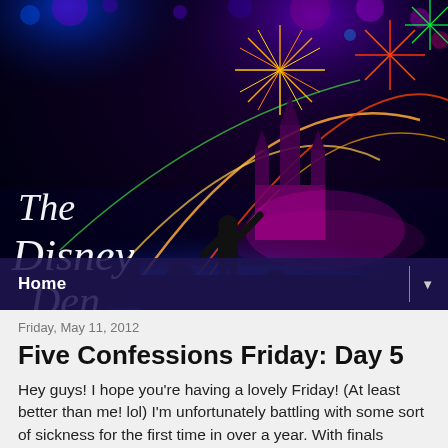[Figure (photo): Header photo of Disneyland fireworks show at night with silhouetted crowd and illuminated castle in the background, with 'The Disney Den' text overlay in decorative white script font]
Home ▼
Friday, May 11, 2012
Five Confessions Friday: Day 5
Hey guys! I hope you're having a lovely Friday! (At least better than me! lol) I'm unfortunately battling with some sort of sickness for the first time in over a year. With finals around the corner, might I add. Great timing immune system...why couldn't you just wait two weeks?